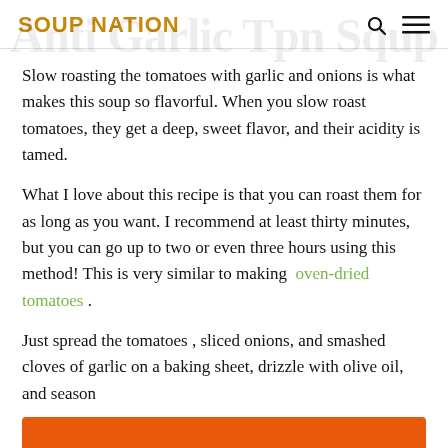SOUP NATION
Slow roasting the tomatoes with garlic and onions is what makes this soup so flavorful. When you slow roast tomatoes, they get a deep, sweet flavor, and their acidity is tamed.
What I love about this recipe is that you can roast them for as long as you want. I recommend at least thirty minutes, but you can go up to two or even three hours using this method! This is very similar to making oven-dried tomatoes .
Just spread the tomatoes , sliced onions, and smashed cloves of garlic on a baking sheet, drizzle with olive oil, and season
[Figure (infographic): Orange advertisement banner: 'Help send medical aid to Ukraine >>' with Direct Relief logo on the right]